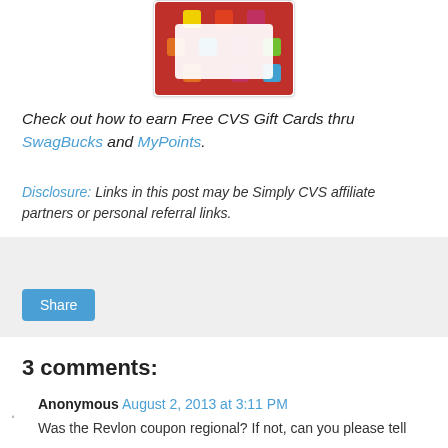[Figure (photo): CVS gift card image on red background with colorful squares]
Check out how to earn Free CVS Gift Cards thru SwagBucks and MyPoints.
Disclosure: Links in this post may be Simply CVS affiliate partners or personal referral links.
[Figure (other): Share button widget area with gray background]
3 comments:
Anonymous August 2, 2013 at 3:11 PM
Was the Revlon coupon regional? If not, can you please tell